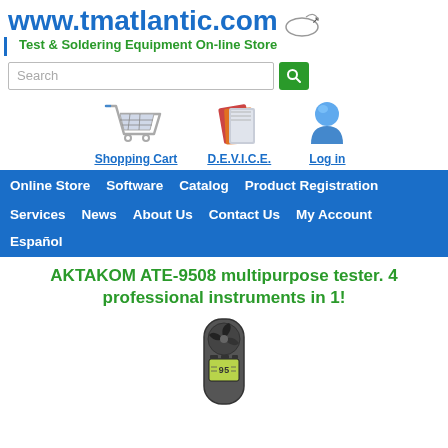www.tmatlantic.com
Test & Soldering Equipment On-line Store
[Figure (screenshot): Search bar with text input field and green search button]
[Figure (infographic): Navigation icons: Shopping Cart, D.E.V.I.C.E., Log in with corresponding icons (cart, books, user avatar)]
Online Store
Software
Catalog
Product Registration
Services
News
About Us
Contact Us
My Account
Español
AKTAKOM ATE-9508 multipurpose tester. 4 professional instruments in 1!
[Figure (photo): Photo of AKTAKOM ATE-9508 multipurpose tester device (anemometer/handheld instrument with digital display and fan blade)]